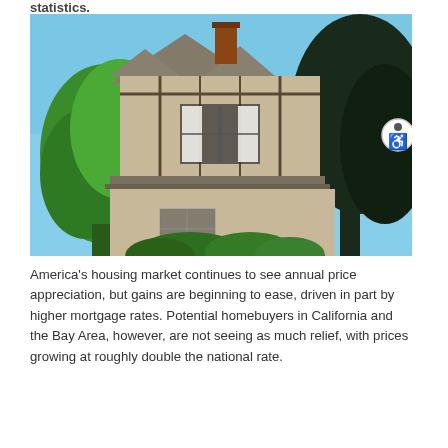statistics.
[Figure (photo): Exterior of a Tudor-style house with gabled roofs, green moss-covered shingles, white curtains visible in windows, surrounded by large green trees under a blue sky.]
America's housing market continues to see annual price appreciation, but gains are beginning to ease, driven in part by higher mortgage rates. Potential homebuyers in California and the Bay Area, however, are not seeing as much relief, with prices growing at roughly double the national rate.